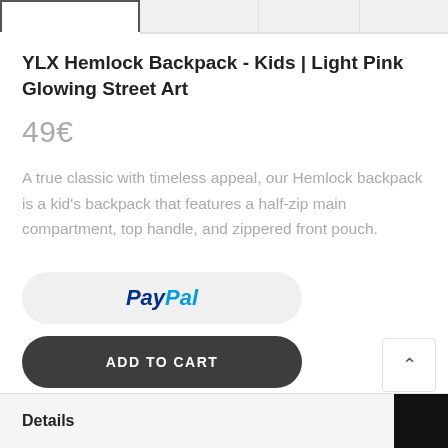YLX Hemlock Backpack - Kids | Light Pink Glowing Street Art
49€
A true classic with timeless appeal, our Hemlock backpack is a kid's backpack that features a half-zip main compartment, top handle, and zippered front pouch.
[Figure (logo): PayPal button with PayPal logo text in blue]
ADD TO CART
Details